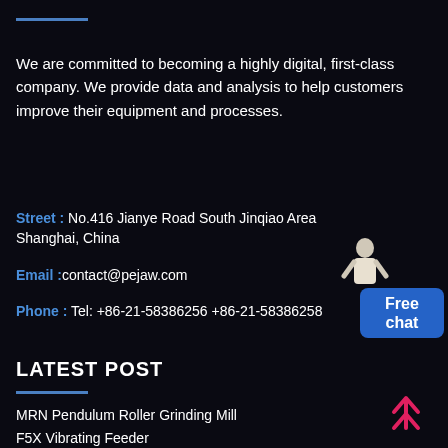We are committed to becoming a highly digital, first-class company. We provide data and analysis to help customers improve their equipment and processes.
Street : No.416 Jianye Road South Jinqiao Area Shanghai, China
Email :contact@pejaw.com
Phone : Tel: +86-21-58386256 +86-21-58386258
LATEST POST
MRN Pendulum Roller Grinding Mill
F5X Vibrating Feeder